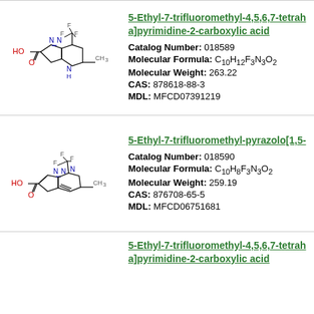[Figure (engineering-diagram): Chemical structure of 5-Ethyl-7-trifluoromethyl-4,5,6,7-tetrahydropyrazolo[1,5-a]pyrimidine-2-carboxylic acid]
5-Ethyl-7-trifluoromethyl-4,5,6,7-tetrahydropyrazolo[1,5-a]pyrimidine-2-carboxylic acid
Catalog Number: 018589
Molecular Formula: C10H12F3N3O2
Molecular Weight: 263.22
CAS: 878618-88-3
MDL: MFCD07391219
[Figure (engineering-diagram): Chemical structure of 5-Ethyl-7-trifluoromethyl-pyrazolo[1,5-a]pyrimidine-2-carboxylic acid]
5-Ethyl-7-trifluoromethyl-pyrazolo[1,5-...]
Catalog Number: 018590
Molecular Formula: C10H8F3N3O2
Molecular Weight: 259.19
CAS: 876708-65-5
MDL: MFCD06751681
5-Ethyl-7-trifluoromethyl-4,5,6,7-tetrahydropyrazolo[1,5-a]pyrimidine-2-carboxylic acid